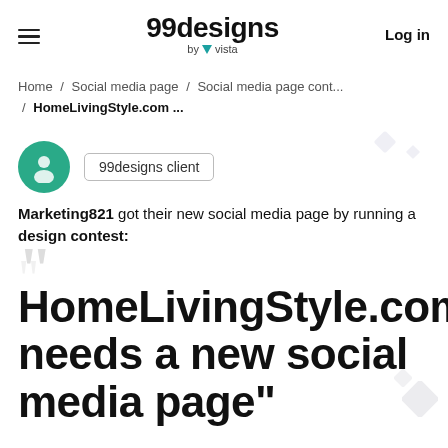99designs by vista   Log in
Home / Social media page / Social media page cont... / HomeLivingStyle.com ...
[Figure (illustration): Green circular avatar icon with person silhouette, labeled '99designs client' badge]
Marketing821 got their new social media page by running a design contest:
HomeLivingStyle.com needs a new social media page"